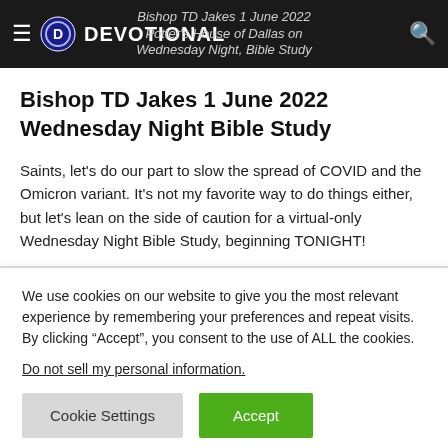DEVOTIONAL — Bishop TD Jakes 1 June 2022 Wednesday Night Bible Study
Bishop TD Jakes 1 June 2022 Wednesday Night Bible Study
Saints, let's do our part to slow the spread of COVID and the Omicron variant. It's not my favorite way to do things either, but let's lean on the side of caution for a virtual-only Wednesday Night Bible Study, beginning TONIGHT!
We use cookies on our website to give you the most relevant experience by remembering your preferences and repeat visits. By clicking “Accept”, you consent to the use of ALL the cookies.
Do not sell my personal information.